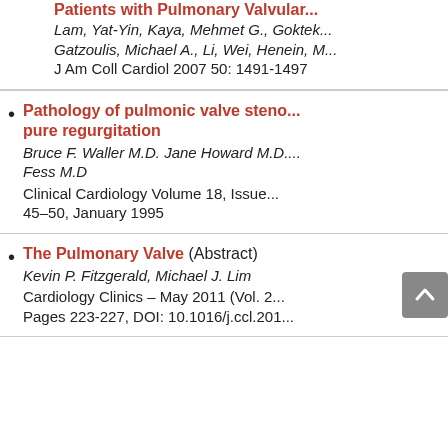Patients with Pulmonary Valvular... Lam, Yat-Yin, Kaya, Mehmet G., Goktek... Gatzoulis, Michael A., Li, Wei, Henein, M... J Am Coll Cardiol 2007 50: 1491-1497
Pathology of pulmonic valve stenosis and pure regurgitation — Bruce F. Waller M.D. Jane Howard M.D. Fess M.D — Clinical Cardiology Volume 18, Issue 45–50, January 1995
The Pulmonary Valve (Abstract) — Kevin P. Fitzgerald, Michael J. Lim — Cardiology Clinics – May 2011 (Vol. 2... Pages 223-227, DOI: 10.1016/j.ccl.201...